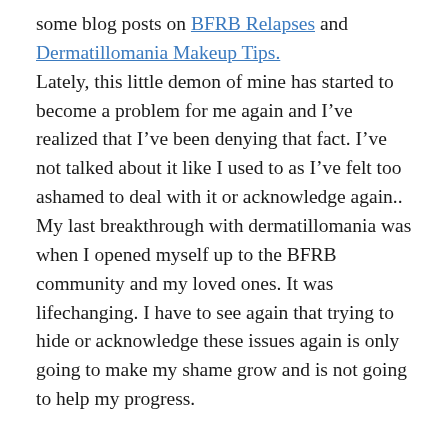some blog posts on BFRB Relapses and Dermatillomania Makeup Tips.
Lately, this little demon of mine has started to become a problem for me again and I’ve realized that I’ve been denying that fact. I’ve not talked about it like I used to as I’ve felt too ashamed to deal with it or acknowledge again.. My last breakthrough with dermatillomania was when I opened myself up to the BFRB community and my loved ones. It was lifechanging. I have to see again that trying to hide or acknowledge these issues again is only going to make my shame grow and is not going to help my progress.